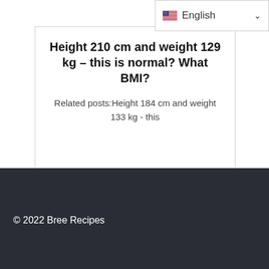[Figure (screenshot): Language selector dropdown showing English with US flag and chevron arrow]
Height 210 cm and weight 129 kg – this is normal? What BMI?
Related posts:Height 184 cm and weight 133 kg - this
0  0 (comment and view counts with icons)
© 2022 Bree Recipes